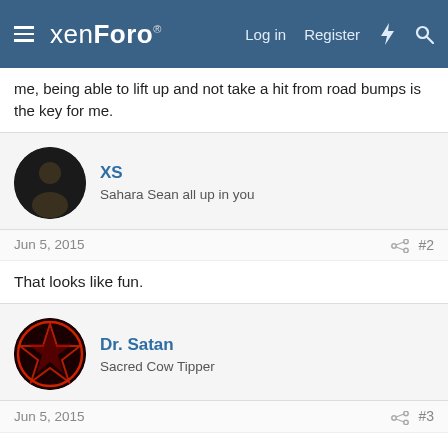xenForo | Log in | Register
me, being able to lift up and not take a hit from road bumps is the key for me.
XS
Sahara Sean all up in you
Jun 5, 2015 #2
That looks like fun.
Dr. Satan
Sacred Cow Tipper
Jun 5, 2015 #3
Puts my hands to sleep and a grin on my face every time I ride.
NIGHTSHADE